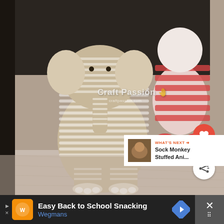[Figure (photo): A stuffed sock elephant toy with beige and white horizontal stripes, large fabric ears, a trunk, and white toenail details on its feet. In the background is a red and white striped stuffed animal. Both sit on a light wood surface. Watermark reads 'Craft Passion craftpassion.com'. A red heart like button shows 467 likes, and a white share button are overlaid on the right side.]
WHAT'S NEXT → Sock Monkey Stuffed Ani...
Easy Back to School Snacking
Wegmans